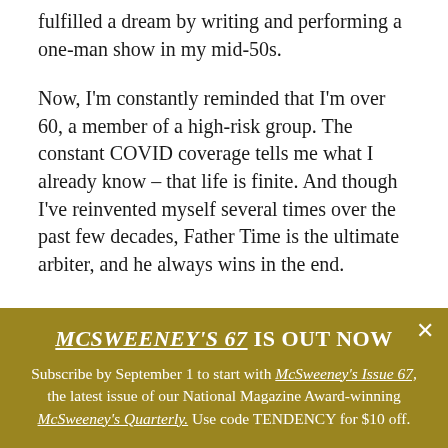fulfilled a dream by writing and performing a one-man show in my mid-50s.
Now, I'm constantly reminded that I'm over 60, a member of a high-risk group. The constant COVID coverage tells me what I already know – that life is finite. And though I've reinvented myself several times over the past few decades, Father Time is the ultimate arbiter, and he always wins in the end.
MCSWEENEY'S 67 IS OUT NOW
Subscribe by September 1 to start with McSweeney's Issue 67, the latest issue of our National Magazine Award-winning McSweeney's Quarterly. Use code TENDENCY for $10 off.